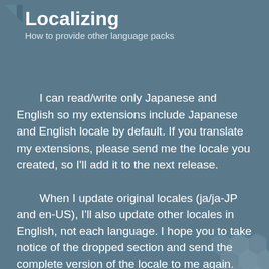Localizing
How to provide other language packs
I can read/write only Japanese and English so my extensions include Japanese and English locale by default. If you translate my extensions, please send me the locale you created, so I'll add it to the next release.
When I update original locales (ja/ja-JP and en-US), I'll also update other locales in English, not each language. I hope you to take notice of the dropped section and send the complete version of the locale to me again.